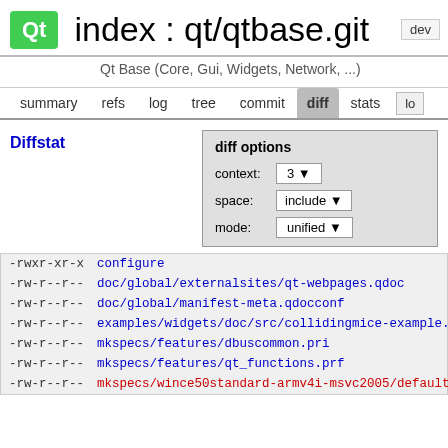index : qt/qtbase.git   dev
Qt Base (Core, Gui, Widgets, Network, ...)
summary   refs   log   tree   commit   diff   stats   log
Diffstat
diff options
context: 3
space: include
mode: unified
-rwxr-xr-x configure
-rw-r--r--  doc/global/externalsites/qt-webpages.qdoc
-rw-r--r--  doc/global/manifest-meta.qdocconf
-rw-r--r--  examples/widgets/doc/src/collidingmice-example.qdoc
-rw-r--r--  mkspecs/features/dbuscommon.pri
-rw-r--r--  mkspecs/features/qt_functions.prf
-rw-r--r--  mkspecs/wince50standard-armv4i-msvc2005/default_post.